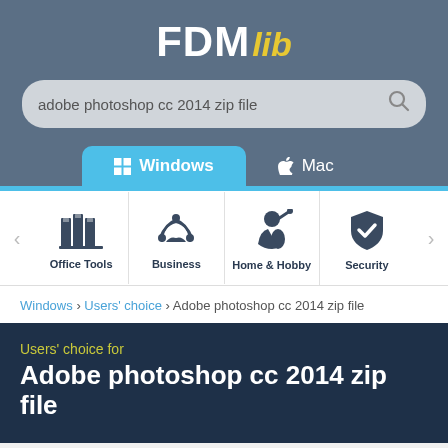FDMlib
adobe photoshop cc 2014 zip file
Windows | Mac
[Figure (screenshot): Category icons row: Office Tools, Business, Home & Hobby, Security]
Windows › Users' choice › Adobe photoshop cc 2014 zip file
Users' choice for
Adobe photoshop cc 2014 zip file
Most people looking for Adobe photoshop cc 2014 zip file downloaded: